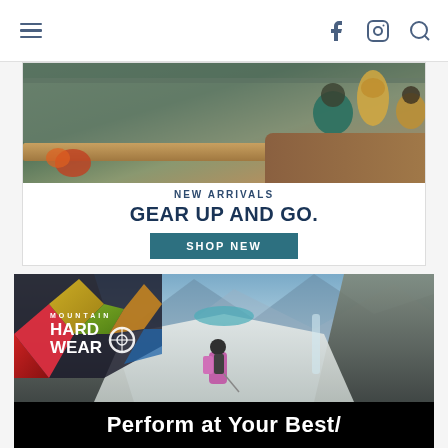Navigation bar with hamburger menu, Facebook icon, Instagram icon, search icon
[Figure (photo): Advertisement banner: photo of two people sitting outdoors on rocks with text 'NEW ARRIVALS / GEAR UP AND GO.' and a teal 'SHOP NEW' button]
[Figure (photo): Mountain Hardwear advertisement: photo of a hiker in pink jacket climbing a snowy mountain gully with Mountain Hardwear logo overlay, scroll-up arrow button, and bottom text 'Perform at Your Best/']